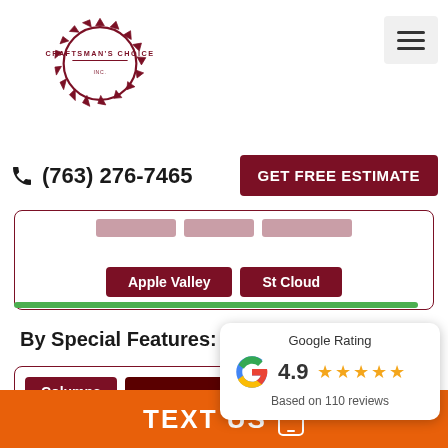[Figure (logo): Craftsman's Choice Inc. circular saw blade logo with company name]
(763) 276-7465
GET FREE ESTIMATE
Apple Valley
St Cloud
By Special Features:
Columns
Hardie S...
[Figure (infographic): Google Rating popup showing 4.9 stars based on 110 reviews with Google G logo]
TEXT US